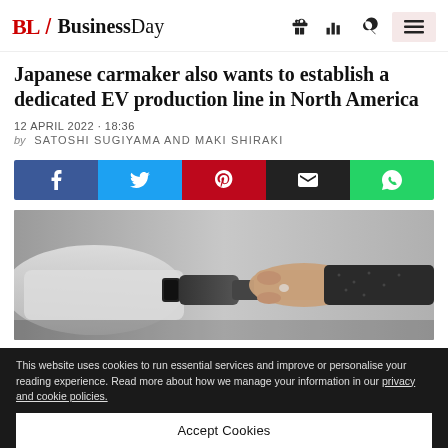BL / BusinessDay
Japanese carmaker also wants to establish a dedicated EV production line in North America
12 APRIL 2022 · 18:36
by SATOSHI SUGIYAMA AND MAKI SHIRAKI
[Figure (infographic): Social media share buttons: Facebook, Twitter, Pinterest, Email, WhatsApp]
[Figure (photo): A person's hand plugging an EV charging connector into a car — dark background with grey tones]
This website uses cookies to run essential services and improve or personalise your reading experience. Read more about how we manage your information in our privacy and cookie policies.
Accept Cookies